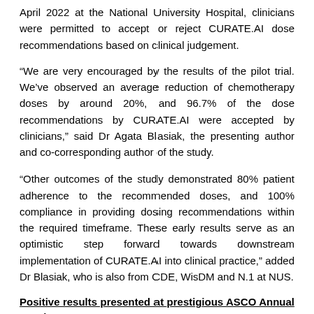April 2022 at the National University Hospital, clinicians were permitted to accept or reject CURATE.AI dose recommendations based on clinical judgement.
“We are very encouraged by the results of the pilot trial. We’ve observed an average reduction of chemotherapy doses by around 20%, and 96.7% of the dose recommendations by CURATE.AI were accepted by clinicians,” said Dr Agata Blasiak, the presenting author and co-corresponding author of the study.
“Other outcomes of the study demonstrated 80% patient adherence to the recommended doses, and 100% compliance in providing dosing recommendations within the required timeframe. These early results serve as an optimistic step forward towards downstream implementation of CURATE.AI into clinical practice,” added Dr Blasiak, who is also from CDE, WisDM and N.1 at NUS.
Positive results presented at prestigious ASCO Annual Meeting
As a prospective and interventional study that harnesses an AI-